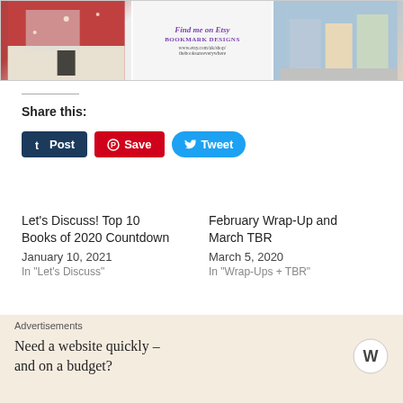[Figure (photo): Collage of three book/bookmark images: left shows books and fairy lights, center shows an Etsy bookmark designs advertisement with text 'Find me on Etsy BOOKMARK DESIGNS www.etsy.com/uk/shop/thebooksareeverywhere', right shows books stacked on a surface.]
Share this:
[Figure (other): Three social share buttons: dark blue Tumblr Post button, red Pinterest Save button, blue Twitter Tweet button]
Let's Discuss! Top 10 Books of 2020 Countdown January 10, 2021 In "Let's Discuss"
February Wrap-Up and March TBR March 5, 2020 In "Wrap-Ups + TBR"
Advertisements
Need a website quickly – and on a budget?